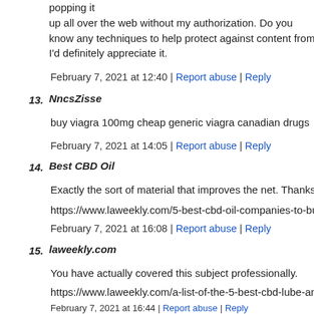popping it up all over the web without my authorization. Do you know any techniques to help protect against content from being I'd definitely appreciate it.
February 7, 2021 at 12:40 | Report abuse | Reply
13. NncsZisse
buy viagra 100mg cheap generic viagra canadian drugs
February 7, 2021 at 14:05 | Report abuse | Reply
14. Best CBD Oil
Exactly the sort of material that improves the net. Thanks!
https://www.laweekly.com/5-best-cbd-oil-companies-to-buy-fr
February 7, 2021 at 16:08 | Report abuse | Reply
15. laweekly.com
You have actually covered this subject professionally.
https://www.laweekly.com/a-list-of-the-5-best-cbd-lube-and-cl
February 7, 2021 at 16:44 | Report abuse | Reply
16. sfweekly.com